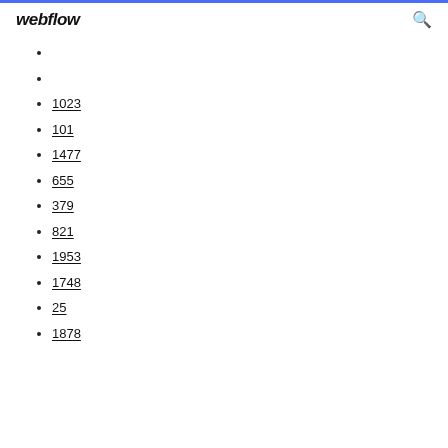webflow
1023
101
1477
655
379
821
1953
1748
25
1878